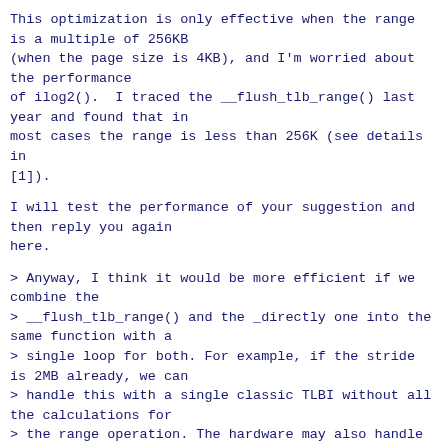This optimization is only effective when the range is a multiple of 256KB
(when the page size is 4KB), and I'm worried about the performance
of ilog2().  I traced the __flush_tlb_range() last year and found that in
most cases the range is less than 256K (see details in
[1]).
I will test the performance of your suggestion and then reply you again
here.
> Anyway, I think it would be more efficient if we combine the
> __flush_tlb_range() and the _directly one into the same function with a
> single loop for both. For example, if the stride is 2MB already, we can
> handle this with a single classic TLBI without all the calculations for
> the range operation. The hardware may also handle this better since the
> software already told it there can be only one entry in that 2MB range.
> So each loop iteration could figure which operation to use based on
> cpucaps, TLBI range ops, stride and reduce range_size accordingly.